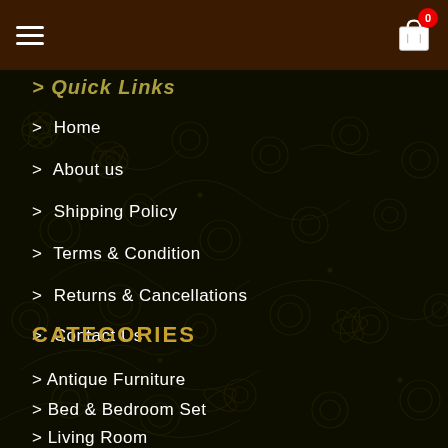Navigation bar with hamburger menu and cart icon (badge: 0)
Quick Links
> Home
> About us
> Shipping Policy
> Terms & Condition
> Returns & Cancellations
> Contact Us
CATEGORIES
> Antique Furniture
> Bed & Bedroom Set
> Living Room
> Dining Room